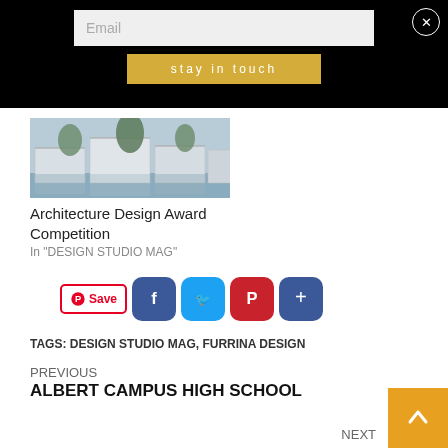Email
stay in touch
[Figure (photo): Architectural rendering of modern campus buildings with trees and a reflecting pool]
Architecture Design Award Competition
In "DESIGN STUDIO MAG"
[Figure (infographic): Social share buttons: Pinterest Save, Facebook, Twitter, Pinterest, and a plus button]
TAGS: DESIGN STUDIO MAG, FURRINA DESIGN
PREVIOUS
ALBERT CAMPUS HIGH SCHOOL
NEXT